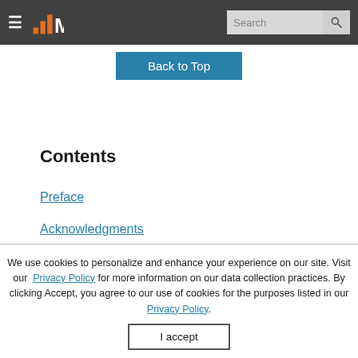≡ M [logo] Search [search button]
Back to Top
Contents
Preface
Acknowledgments
Terminology
We use cookies to personalize and enhance your experience on our site. Visit our Privacy Policy for more information on our data collection practices. By clicking Accept, you agree to our use of cookies for the purposes listed in our Privacy Policy.
I accept